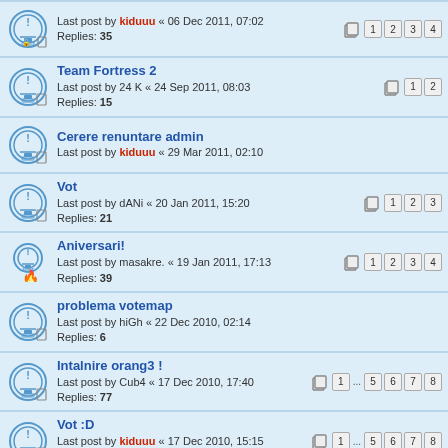Last post by kiduuu « 06 Dec 2011, 07:02
Replies: 35
Pages: 1 2 3 4
Team Fortress 2
Last post by 24 K « 24 Sep 2011, 08:03
Replies: 15
Pages: 1 2
Cerere renuntare admin
Last post by kiduuu « 29 Mar 2011, 02:10
Vot
Last post by dANi « 20 Jan 2011, 15:20
Replies: 21
Pages: 1 2 3
Aniversari!
Last post by masakre. « 19 Jan 2011, 17:13
Replies: 39
Pages: 1 2 3 4
problema votemap
Last post by hiGh « 22 Dec 2010, 02:14
Replies: 6
Intalnire orang3 !
Last post by Cub4 « 17 Dec 2010, 17:40
Replies: 77
Pages: 1 ... 5 6 7 8
Vot :D
Last post by kiduuu « 17 Dec 2010, 15:15
Replies: 74
Pages: 1 ... 5 6 7 8
o parere scurta.
Last post by RnC « 01 Dec 2010, 22:31